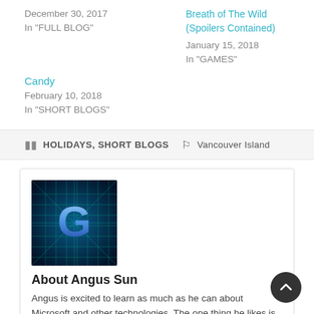December 30, 2017
In "FULL BLOG"
Breath of The Wild (Spoilers Contained)
January 15, 2018
In "GAMES"
Candy
February 10, 2018
In "SHORT BLOGS"
HOLIDAYS, SHORT BLOGS  Vancouver Island
[Figure (photo): Profile image with a stylized glowing blue letter G on a dark blue-green background]
About Angus Sun
Angus is excited to learn as much as he can about Microsoft and other technologies. The one thing he likes is computer programming and technical writing. He also